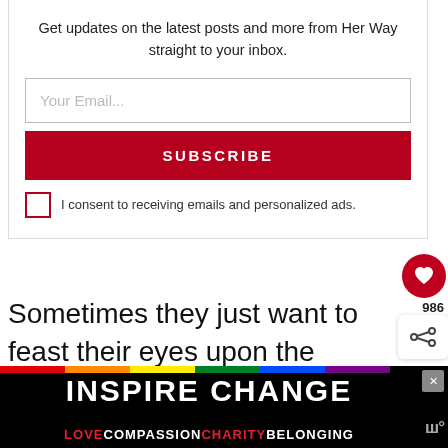Get updates on the latest posts and more from Her Way straight to your inbox.
Your Email...
SUBSCRIBE
I consent to receiving emails and personalized ads.
Sometimes they just want to feast their eyes upon the beauty that is in front of them.
986
WHAT'S NEXT → This Is Why You Have...
[Figure (infographic): INSPIRE CHANGE ad banner with rainbow strip and text: LOVE COMPASSION CHARITY BELONGING]
A...